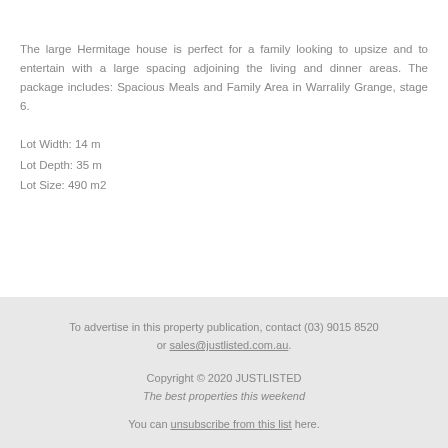The large Hermitage house is perfect for a family looking to upsize and to entertain with a large spacing adjoining the living and dinner areas. The package includes: Spacious Meals and Family Area in Warralily Grange, stage 6.
Lot Width: 14 m
Lot Depth: 35 m
Lot Size: 490 m2
To advertise in this property publication, contact (03) 9015 8520 or sales@justlisted.com.au.

Copyright © 2020 JUSTLISTED
The best properties this weekend

You can unsubscribe from this list here.